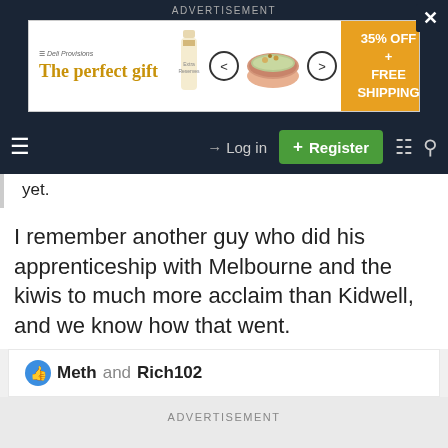ADVERTISEMENT
[Figure (screenshot): Advertisement banner: 'The perfect gift' with product images and '35% OFF + FREE SHIPPING' offer]
[Figure (screenshot): Navigation bar with hamburger menu, Log in, Register, and search icons]
yet.
I remember another guy who did his apprenticeship with Melbourne and the kiwis to much more acclaim than Kidwell, and we know how that went.
👍 Meth and Rich102
ADVERTISEMENT